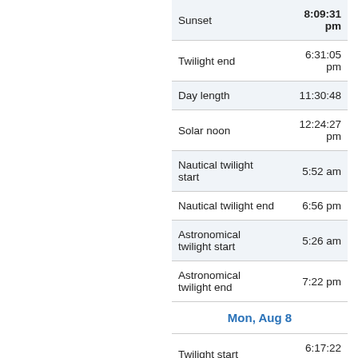| Event | Time |
| --- | --- |
| Sunset | 8:09:31 pm |
| Twilight end | 6:31:05 pm |
| Day length | 11:30:48 |
| Solar noon | 12:24:27 pm |
| Nautical twilight start | 5:52 am |
| Nautical twilight end | 6:56 pm |
| Astronomical twilight start | 5:26 am |
| Astronomical twilight end | 7:22 pm |
| Mon, Aug 8 |  |
| Twilight start | 6:17:22 am |